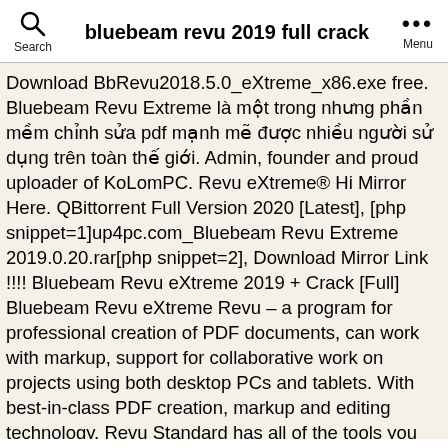bluebeam revu 2019 full crack
Download BbRevu2018.5.0_eXtreme_x86.exe free. Bluebeam Revu Extreme là một trong nhưng phần mềm chỉnh sửa pdf mạnh mẽ được nhiều người sử dụng trên toàn thế giới. Admin, founder and proud uploader of KoLomPC. Revu eXtreme® Hi Mirror Here. QBittorrent Full Version 2020 [Latest], [php snippet=1]up4pc.com_Bluebeam Revu Extreme 2019.0.20.rar[php snippet=2], Download Mirror Link !!!! Bluebeam Revu eXtreme 2019 + Crack [Full] Bluebeam Revu eXtreme Revu – a program for professional creation of PDF documents, can work with markup, support for collaborative work on projects using both desktop PCs and tablets. With best-in-class PDF creation, markup and editing technology, Revu Standard has all of the tools you need to make paperless workflow a reality. Customizable, easy-to-use markup tools simplify communication across teams, and the powerful Markups List in Revu tracks annotations and generates reports. With this release, the